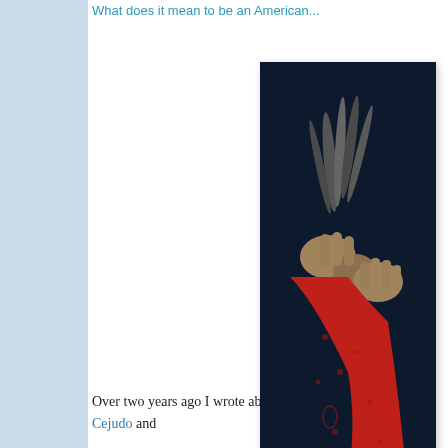What does it mean to be an American…
[Figure (photo): A person holding a red bandana/cloth with feathers, against a dark background. Only hands, the cloth, and partial figure visible.]
Over two years ago I wrote about Henry Cejudo and